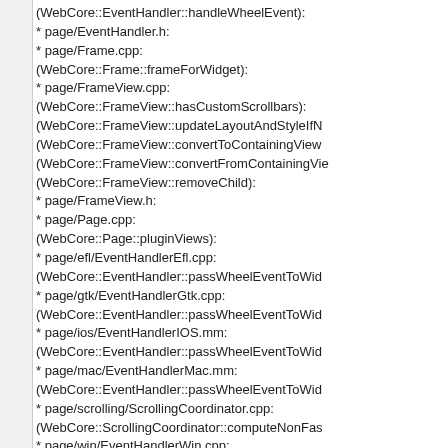(WebCore::EventHandler::handleWheelEvent):
* page/EventHandler.h:
* page/Frame.cpp:
(WebCore::Frame::frameForWidget):
* page/FrameView.cpp:
(WebCore::FrameView::hasCustomScrollbars):
(WebCore::FrameView::updateLayoutAndStyleIfN
(WebCore::FrameView::convertToContainingView
(WebCore::FrameView::convertFromContainingVi
(WebCore::FrameView::removeChild):
* page/FrameView.h:
* page/Page.cpp:
(WebCore::Page::pluginViews):
* page/efl/EventHandlerEfl.cpp:
(WebCore::EventHandler::passWheelEventToWid
* page/gtk/EventHandlerGtk.cpp:
(WebCore::EventHandler::passWheelEventToWid
* page/ios/EventHandlerIOS.mm:
(WebCore::EventHandler::passWheelEventToWid
* page/mac/EventHandlerMac.mm:
(WebCore::EventHandler::passWheelEventToWid
* page/scrolling/ScrollingCoordinator.cpp:
(WebCore::ScrollingCoordinator::computeNonFas
* page/win/EventHandlerWin.cpp:
(WebCore::EventHandler::passWheelEventToWid
* platform/ScrollView.cpp:
(WebCore::ScrollView::removeChild):
(WebCore::ScrollView::setHasHorizontalScrollbar
(WebCore::ScrollView::setHasVerticalScrollbar):
* platform/ScrollView.h: